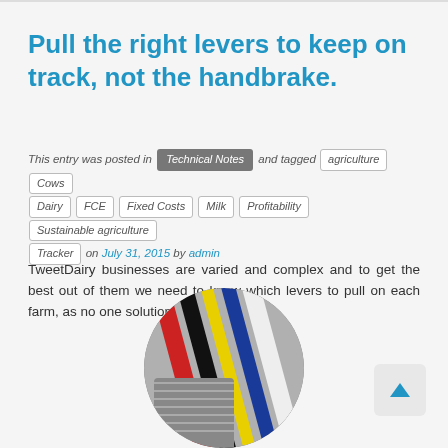Pull the right levers to keep on track, not the handbrake.
This entry was posted in Technical Notes and tagged agriculture, Cows, Dairy, FCE, Fixed Costs, Milk, Profitability, Sustainable agriculture, Tracker on July 31, 2015 by admin
TweetDairy businesses are varied and complex and to get the best out of them we need to know which levers to pull on each farm, as no one solution fits all. A [...]
[Figure (photo): Circular cropped photo showing colorful cables or wires bundled together, visible from a side angle]